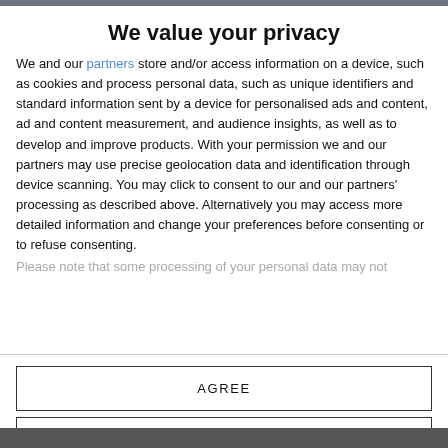We value your privacy
We and our partners store and/or access information on a device, such as cookies and process personal data, such as unique identifiers and standard information sent by a device for personalised ads and content, ad and content measurement, and audience insights, as well as to develop and improve products. With your permission we and our partners may use precise geolocation data and identification through device scanning. You may click to consent to our and our partners' processing as described above. Alternatively you may access more detailed information and change your preferences before consenting or to refuse consenting.
Please note that some processing of your personal data may not
AGREE
MORE OPTIONS